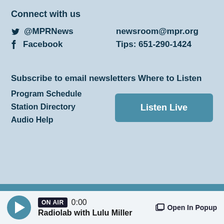Connect with us
@MPRNews | newsroom@mpr.org
Facebook | Tips: 651-290-1424
Subscribe to email newsletters
Where to Listen
Program Schedule
Station Directory
Audio Help
Listen Live
ON AIR  0:00  Radiolab with Lulu Miller  Open In Popup